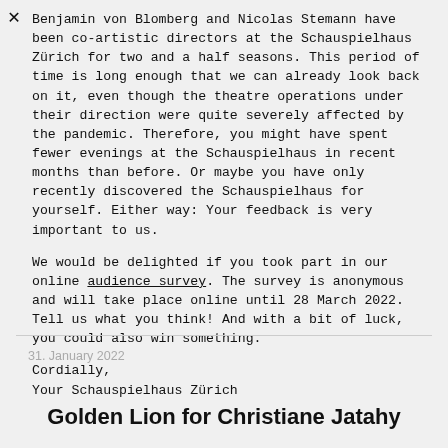Benjamin von Blomberg and Nicolas Stemann have been co-artistic directors at the Schauspielhaus Zürich for two and a half seasons. This period of time is long enough that we can already look back on it, even though the theatre operations under their direction were quite severely affected by the pandemic. Therefore, you might have spent fewer evenings at the Schauspielhaus in recent months than before. Or maybe you have only recently discovered the Schauspielhaus for yourself. Either way: Your feedback is very important to us.
We would be delighted if you took part in our online audience survey. The survey is anonymous and will take place online until 28 March 2022. Tell us what you think! And with a bit of luck, you could also win something.
Cordially,
Your Schauspielhaus Zürich
31. January 2022
Golden Lion for Christiane Jatahy